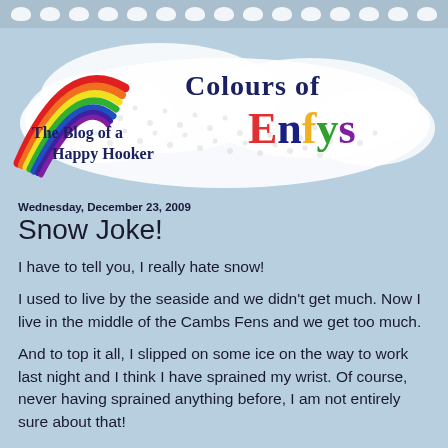[Figure (logo): Blog header banner for 'Colours of Enfys – The Blog of a Happy Hooker' with a rainbow on the left, a cloud/crochet texture background, colourful lettering for 'Colours of Enfys', and subtitle text 'The Blog of a Happy Hooker'. Top border has a row of small cloud/dot shapes on a grey-blue background.]
Wednesday, December 23, 2009
Snow Joke!
I have to tell you, I really hate snow!
I used to live by the seaside and we didn't get much. Now I live in the middle of the Cambs Fens and we get too much.
And to top it all, I slipped on some ice on the way to work last night and I think I have sprained my wrist. Of course, never having sprained anything before, I am not entirely sure about that!